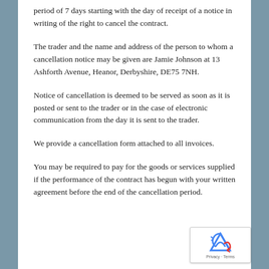period of 7 days starting with the day of receipt of a notice in writing of the right to cancel the contract.
The trader and the name and address of the person to whom a cancellation notice may be given are Jamie Johnson at 13 Ashforth Avenue, Heanor, Derbyshire, DE75 7NH.
Notice of cancellation is deemed to be served as soon as it is posted or sent to the trader or in the case of electronic communication from the day it is sent to the trader.
We provide a cancellation form attached to all invoices.
You may be required to pay for the goods or services supplied if the performance of the contract has begun with your written agreement before the end of the cancellation period.